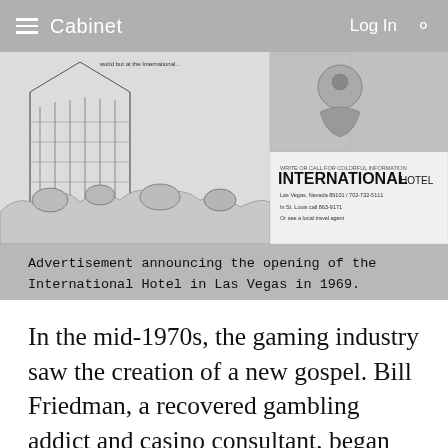Cabinet  Log In
[Figure (illustration): Advertisement illustration announcing the opening of the International Hotel in Las Vegas, featuring architectural sketches of the hotel and text reading INTERNATIONAL HOTEL, with contact information for Las Vegas Nevada and St. Louis]
Advertisement announcing the opening of the International Hotel in Las Vegas in 1969.
In the mid-1970s, the gaming industry saw the creation of a new gospel. Bill Friedman, a recovered gambling addict and casino consultant, began compiling the definitive guide to casino design, including specs for every element in its interior. The resulting book would only be published decades lat—under the unapologetic heading Designing